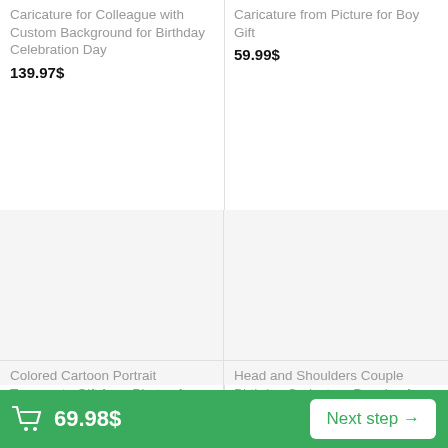Caricature for Colleague with Custom Background for Birthday Celebration Day
139.97$
Caricature from Picture for Boy Gift
59.99$
[Figure (photo): Product image placeholder - Colored Cartoon Portrait]
[Figure (photo): Product image placeholder - Head and Shoulders Couple]
Colored Cartoon Portrait Teammate Gift from Photos for Birthday Present
Head and Shoulders Couple Birthday Caricature Drawing for Treasure Gift
69.98$
Next step →